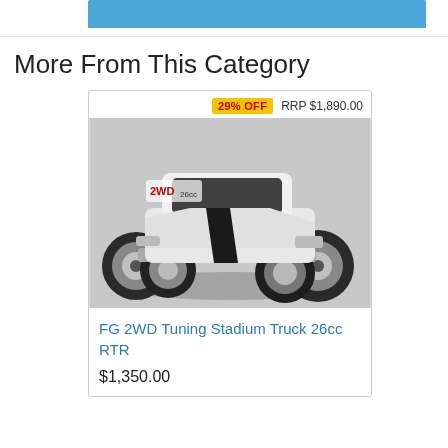[Figure (screenshot): Top blue banner strip partially visible at top of page]
More From This Category
[Figure (photo): White RC monster truck (FG 2WD Tuning Stadium Truck 26cc RTR) with large off-road tires and black racing stripe, shown at an angle. Has '2WD 26cc' logo on windshield area. Gray background.]
29% OFF   RRP $1,890.00
FG 2WD Tuning Stadium Truck 26cc RTR
$1,350.00